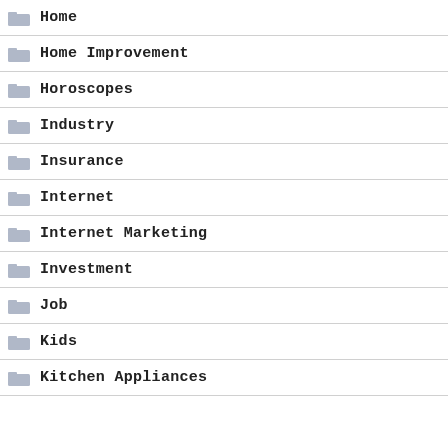Home
Home Improvement
Horoscopes
Industry
Insurance
Internet
Internet Marketing
Investment
Job
Kids
Kitchen Appliances